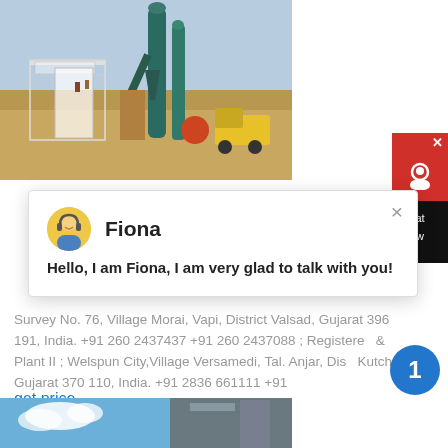[Figure (photo): Industrial equipment / grinding mill plant with towers, pipes and structures at a construction site, yellow truck visible in background]
[Figure (screenshot): Chat popup overlay with avatar of Fiona and message: Hello, I am Fiona, I am very glad to talk with you!]
Survey No. 76, Village Morai, Vapi, District Valsad, Gujarat 396 191, India. +91 260 2437437 +91 260 2437088 ; Registered & Plant II ; Welspun City,Village Versamedi, Tal. Anjar, Dis Kutch Gujarat 370 110, India. +91 2836 661111 +91
get price
[Figure (photo): Partial photo of building exterior with blue sky and clouds visible at bottom of page]